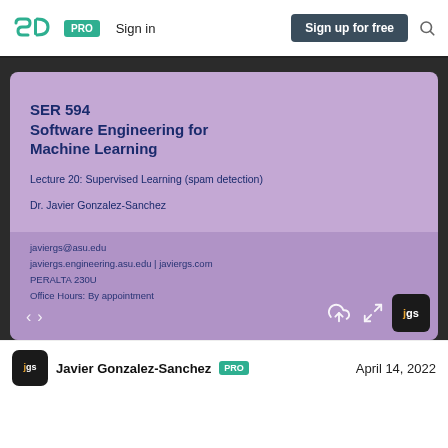SpeakerDeck navigation bar: PRO | Sign in | Sign up for free | Search
[Figure (screenshot): Slide thumbnail showing SER 594 Software Engineering for Machine Learning course title slide by Dr. Javier Gonzalez-Sanchez, Lecture 20: Supervised Learning (spam detection), with contact info: javiergs@asu.edu, javiergs.engineering.asu.edu | javiergs.com, PERALTA 230U, Office Hours: By appointment]
Javier Gonzalez-Sanchez PRO    April 14, 2022